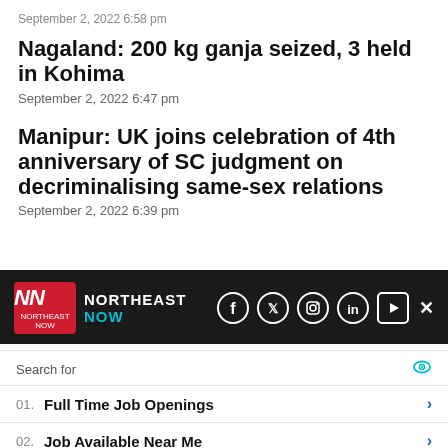September 2, 2022 6:58 pm
Nagaland: 200 kg ganja seized, 3 held in Kohima
September 2, 2022 6:47 pm
Manipur: UK joins celebration of 4th anniversary of SC judgment on decriminalising same-sex relations
September 2, 2022 6:39 pm
[Figure (logo): Northeast Now logo with red NN box and social media icons (Facebook, Twitter, Instagram, LinkedIn, YouTube) on dark background]
01. Full Time Job Openings
02. Job Available Near Me
Yahoo! Search | Sponsored